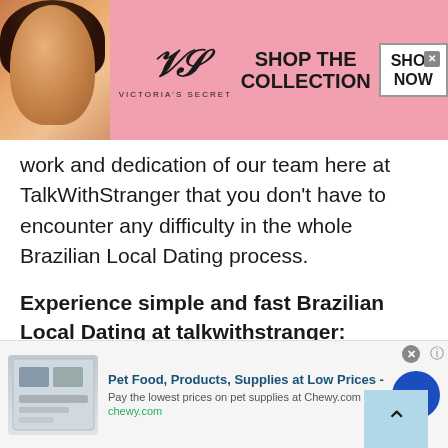[Figure (illustration): Victoria's Secret advertisement banner with model photo, VS logo, 'SHOP THE COLLECTION' text, and 'SHOP NOW' button on pink background]
work and dedication of our team here at TalkWithStranger that you don't have to encounter any difficulty in the whole Brazilian Local Dating process.
Experience simple and fast Brazilian Local Dating at talkwithstranger:
We have designed a user interface that doesn't entangle you in the complications that various other Brazilian Local Dating sites have on their design. You don't have to go through a long process just to get your user profile
[Figure (other): Pet food advertisement banner for Chewy.com: 'Pet Food, Products, Supplies at Low Prices - Pay the lowest prices on pet supplies at Chewy.com' with blue arrow button]